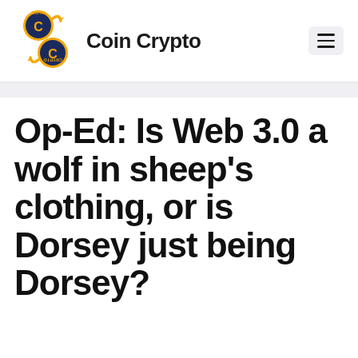[Figure (logo): Coin Crypto logo: two circular coin icons with 'C' letters in gold/navy, arrows suggesting exchange, text 'COIN' and 'CRYPTO' on the coins]
Coin Crypto
Op-Ed: Is Web 3.0 a wolf in sheep's clothing, or is Dorsey just being Dorsey?